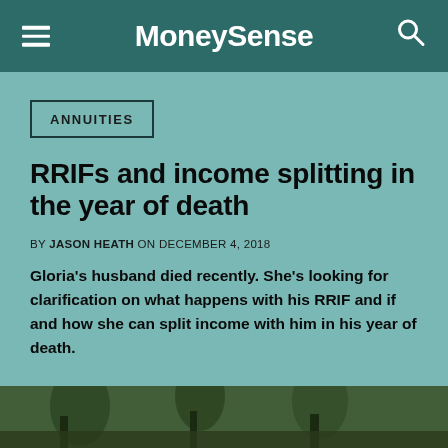MoneySense
ANNUITIES
RRIFs and income splitting in the year of death
BY JASON HEATH ON DECEMBER 4, 2018
Gloria's husband died recently. She's looking for clarification on what happens with his RRIF and if and how she can split income with him in his year of death.
[Figure (photo): Outdoor photo showing people among trees, partially visible at the bottom of the page]